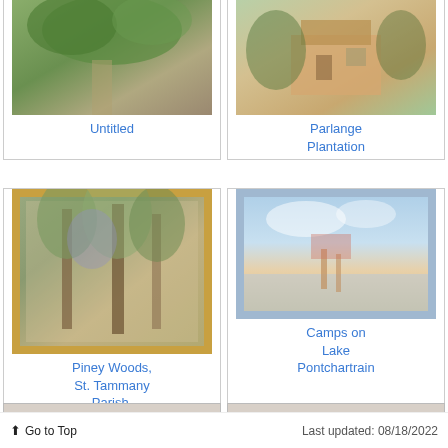[Figure (photo): Painting of a forest path with green foliage]
Untitled
[Figure (photo): Painting of a plantation house with trees]
Parlange Plantation
[Figure (photo): Painting in gold frame of Piney Woods scene with tall trees]
Piney Woods, St. Tammany Parish, Louisiana
[Figure (photo): Painting of camps on Lake Pontchartrain with water and sky]
Camps on Lake Pontchartrain
Go to Top   Last updated: 08/18/2022